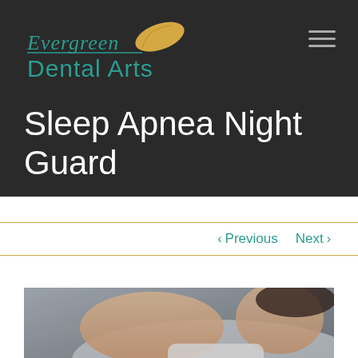[Figure (logo): Evergreen Dental Arts logo with teal text and golden leaf icon]
Sleep Apnea Night Guard
< Previous   Next >
[Figure (photo): Woman lying down, appears to be sleeping or resting, blurred background]